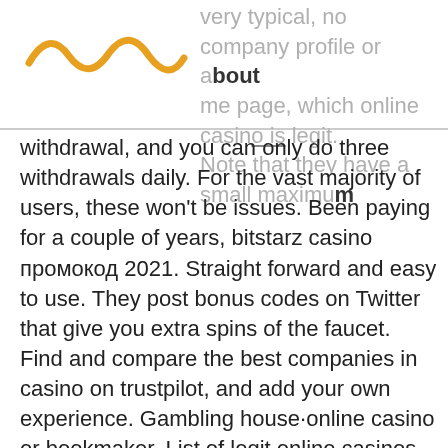very typical, no company profile or about me page, which online casino is legit. Note that they have a small maximum
[Figure (logo): Golden wavy lines logo on white background]
withdrawal, and you can only do three withdrawals daily. For the vast majority of users, these won't be issues. Been paying for a couple of years, bitstarz casino промокод 2021. Straight forward and easy to use. They post bonus codes on Twitter that give you extra spins of the faucet. Find and compare the best companies in casino on trustpilot, and add your own experience. Gambling house·online casino or bookmaker. List of legit online casinos reviewed by our experts &amp; players. Do not open account at any online casino before checking our reviews. 888casino is one of the world's best online casinos in terms of ratings and popularity. It offers over 1100+ online slots and casino games with. Online